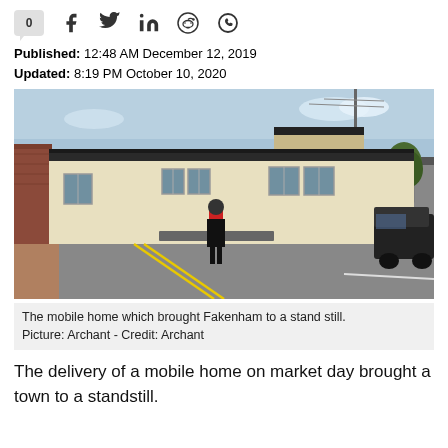0 [social icons: Facebook, Twitter, LinkedIn, Reddit, WhatsApp]
Published: 12:48 AM December 12, 2019
Updated: 8:19 PM October 10, 2020
[Figure (photo): A large mobile home being transported on a flatbed trailer along a narrow town road, blocking traffic. A person in a red and black jacket stands beside it. Buildings visible on both sides of the road.]
The mobile home which brought Fakenham to a stand still. Picture: Archant - Credit: Archant
The delivery of a mobile home on market day brought a town to a standstill.